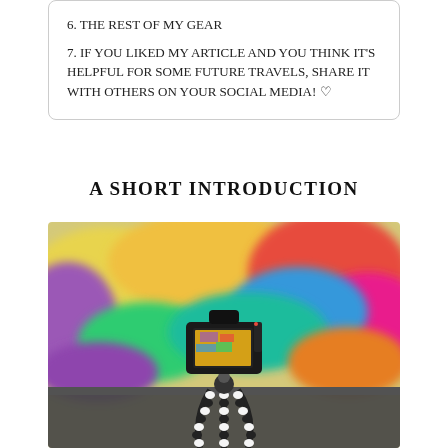6. THE REST OF MY GEAR
7. IF YOU LIKED MY ARTICLE AND YOU THINK IT'S HELPFUL FOR SOME FUTURE TRAVELS, SHARE IT WITH OTHERS ON YOUR SOCIAL MEDIA! ♡
A SHORT INTRODUCTION
[Figure (photo): A DSLR camera mounted on a flexible GorillaPod tripod, photographed from behind against a colorful blurred graffiti mural background.]